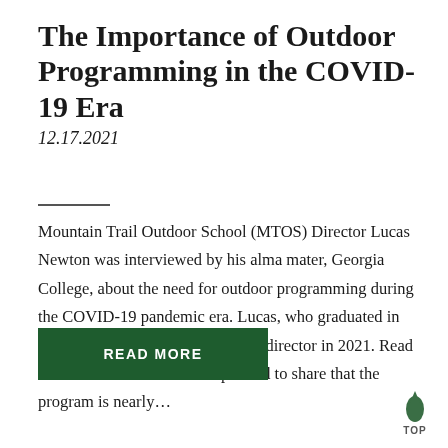The Importance of Outdoor Programming in the COVID-19 Era
12.17.2021
Mountain Trail Outdoor School (MTOS) Director Lucas Newton was interviewed by his alma mater, Georgia College, about the need for outdoor programming during the COVID-19 pandemic era. Lucas, who graduated in 2012, joined Kanuga as MTOS as director in 2021. Read the full article here. We are pleased to share that the program is nearly…
READ MORE